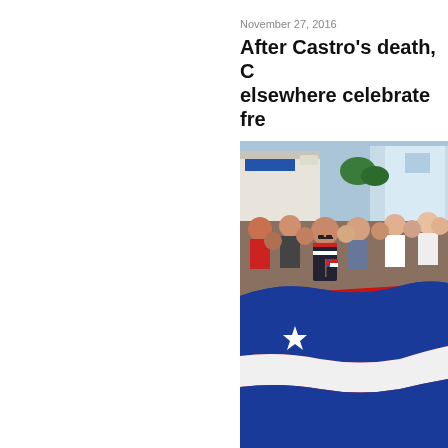November 27, 2016
After Castro's death, C… elsewhere celebrate fre…
[Figure (photo): A crowd of people in a street holding a large Cuban flag (blue, white and red stripes with a white star on red triangle). A woman with sunglasses holds a small Cuban flag in the foreground. Buildings are visible in the background.]